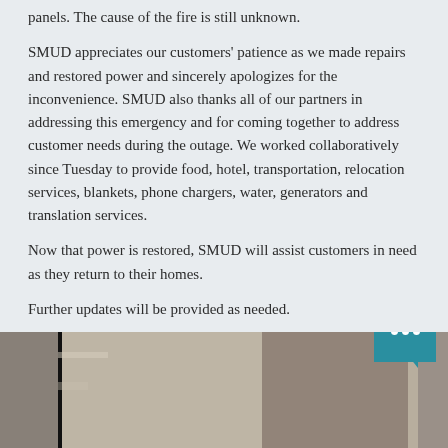panels. The cause of the fire is still unknown.
SMUD appreciates our customers' patience as we made repairs and restored power and sincerely apologizes for the inconvenience. SMUD also thanks all of our partners in addressing this emergency and for coming together to address customer needs during the outage. We worked collaboratively since Tuesday to provide food, hotel, transportation, relocation services, blankets, phone chargers, water, generators and translation services.
Now that power is restored, SMUD will assist customers in need as they return to their homes.
Further updates will be provided as needed.
Photos from the field
[Figure (photo): Field photo showing structural panels or equipment, partially visible at bottom of page, with a teal chat widget overlay in bottom-right corner.]